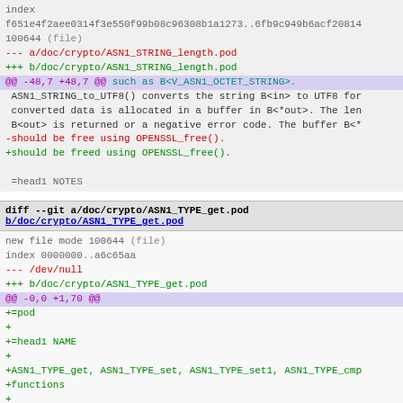index
f651e4f2aee0314f3e550f99b08c96308b1a1273..6fb9c949b6acf20814
100644 (file)
--- a/doc/crypto/ASN1_STRING_length.pod
+++ b/doc/crypto/ASN1_STRING_length.pod
@@ -48,7 +48,7 @@ such as B<V_ASN1_OCTET_STRING>.
 ASN1_STRING_to_UTF8() converts the string B<in> to UTF8 for
 converted data is allocated in a buffer in B<*out>. The len
 B<out> is returned or a negative error code. The buffer B<*
-should be free using OPENSSL_free().
+should be freed using OPENSSL_free().

 =head1 NOTES
diff --git a/doc/crypto/ASN1_TYPE_get.pod b/doc/crypto/ASN1_TYPE_get.pod
new file mode 100644 (file)
index 0000000..a6c65aa
--- /dev/null
+++ b/doc/crypto/ASN1_TYPE_get.pod
@@ -0,0 +1,70 @@
+=pod
+
+=head1 NAME
+
+ASN1_TYPE_get, ASN1_TYPE_set, ASN1_TYPE_set1, ASN1_TYPE_cmp
+functions
+
+=head1 SYNOPSIS
+